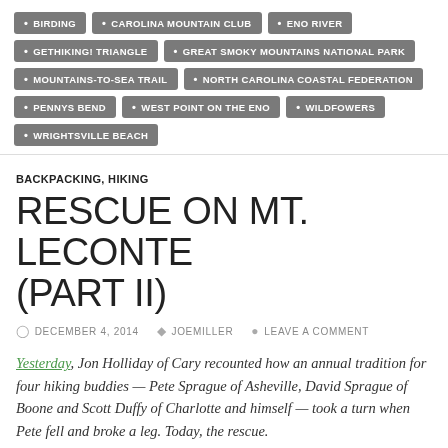BIRDING
CAROLINA MOUNTAIN CLUB
ENO RIVER
GETHIKING! TRIANGLE
GREAT SMOKY MOUNTAINS NATIONAL PARK
MOUNTAINS-TO-SEA TRAIL
NORTH CAROLINA COASTAL FEDERATION
PENNYS BEND
WEST POINT ON THE ENO
WILDFOWERS
WRIGHTSVILLE BEACH
BACKPACKING, HIKING
RESCUE ON MT. LECONTE (PART II)
DECEMBER 4, 2014  JOEMILLER  LEAVE A COMMENT
Yesterday, Jon Holliday of Cary recounted how an annual tradition for four hiking buddies — Pete Sprague of Asheville, David Sprague of Boone and Scott Duffy of Charlotte and himself — took a turn when Pete fell and broke a leg. Today, the rescue.